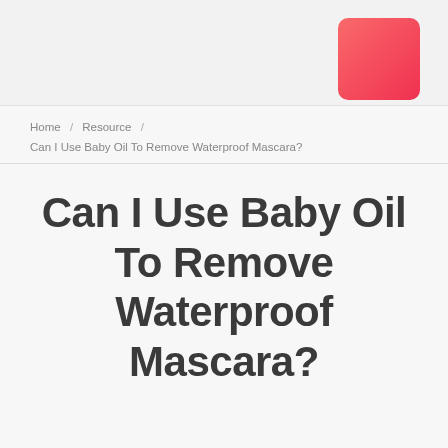[Figure (logo): Red rounded square logo in the upper right corner of the header]
Home / Resource / Can I Use Baby Oil To Remove Waterproof Mascara?
Can I Use Baby Oil To Remove Waterproof Mascara?